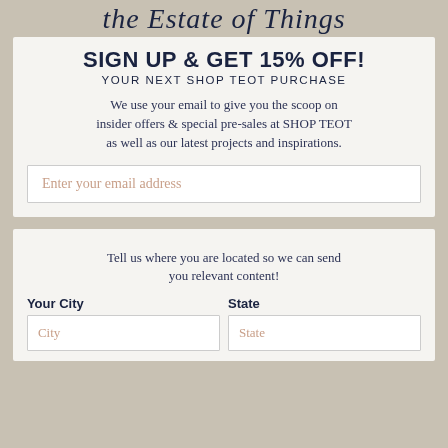the Estate of Things
SIGN UP & GET 15% OFF!
YOUR NEXT SHOP TEOT PURCHASE
We use your email to give you the scoop on insider offers & special pre-sales at SHOP TEOT as well as our latest projects and inspirations.
Enter your email address
Tell us where you are located so we can send you relevant content!
Your City
City
State
State